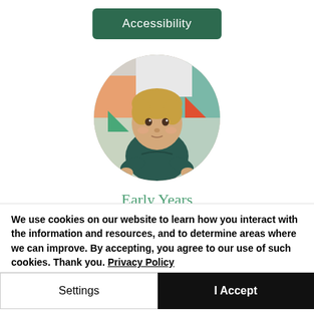[Figure (other): Green rectangular button labeled 'Accessibility' with white text on dark green background]
[Figure (photo): Circular cropped photo of a young toddler with blonde hair sitting on colorful bedding, wearing a dark teal shirt]
Early Years Programs
We use cookies on our website to learn how you interact with the information and resources, and to determine areas where we can improve. By accepting, you agree to our use of such cookies. Thank you. Privacy Policy
Settings
I Accept